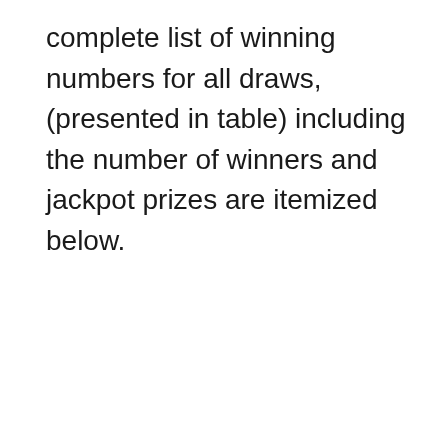complete list of winning numbers for all draws, (presented in table) including the number of winners and jackpot prizes are itemized below.